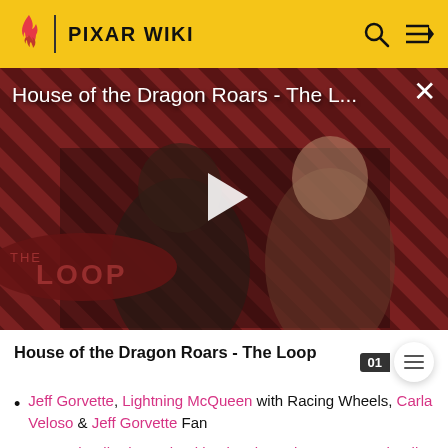PIXAR WIKI
[Figure (screenshot): Video thumbnail showing House of the Dragon Roars - The L... with play button overlay, diagonal striped red/dark background, two characters (armored figure and woman), THE LOOP badge at bottom left]
House of the Dragon Roars - The Loop
Jeff Gorvette, Lightning McQueen with Racing Wheels, Carla Veloso & Jeff Gorvette Fan
Max Schnell, Shu Todoroki, Miguel Camino, & Max Schnell Fan